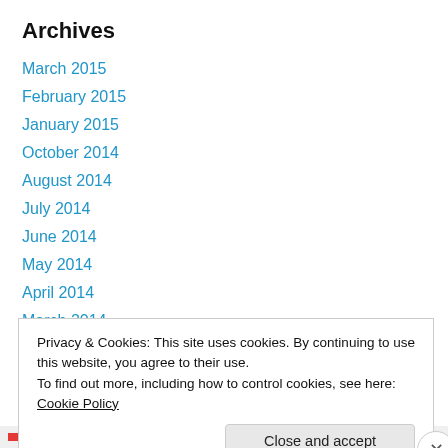Archives
March 2015
February 2015
January 2015
October 2014
August 2014
July 2014
June 2014
May 2014
April 2014
March 2014
February 2014
Privacy & Cookies: This site uses cookies. By continuing to use this website, you agree to their use.
To find out more, including how to control cookies, see here: Cookie Policy
Close and accept